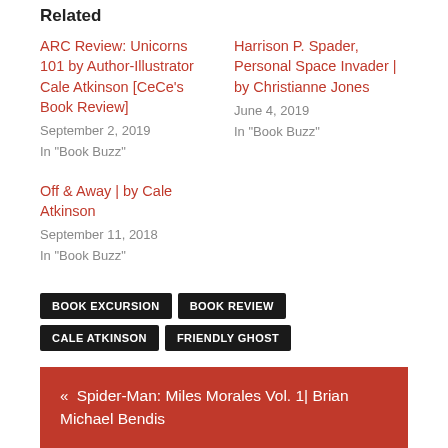Related
ARC Review: Unicorns 101 by Author-Illustrator Cale Atkinson [CeCe's Book Review]
September 2, 2019
In "Book Buzz"
Harrison P. Spader, Personal Space Invader | by Christianne Jones
June 4, 2019
In "Book Buzz"
Off & Away | by Cale Atkinson
September 11, 2018
In "Book Buzz"
BOOK EXCURSION
BOOK REVIEW
CALE ATKINSON
FRIENDLY GHOST
« Spider-Man: Miles Morales Vol. 1| Brian Michael Bendis